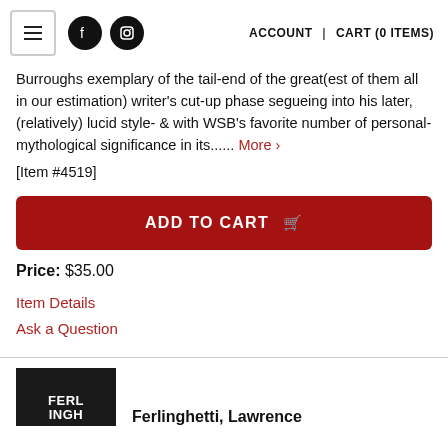ACCOUNT | CART (0 ITEMS)
Burroughs exemplary of the tail-end of the great(est of them all in our estimation) writer's cut-up phase segueing into his later, (relatively) lucid style- & with WSB's favorite number of personal-mythological significance in its...... More >
[Item #4519]
ADD TO CART
Price: $35.00
Item Details
Ask a Question
Ferlinghetti, Lawrence